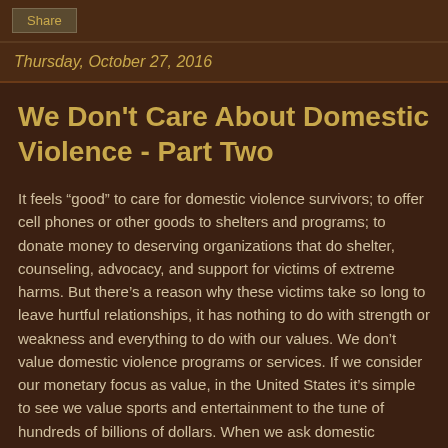Share
Thursday, October 27, 2016
We Don't Care About Domestic Violence - Part Two
It feels “good” to care for domestic violence survivors; to offer cell phones or other goods to shelters and programs; to donate money to deserving organizations that do shelter, counseling, advocacy, and support for victims of extreme harms. But there’s a reason why these victims take so long to leave hurtful relationships, it has nothing to do with strength or weakness and everything to do with our values. We don’t value domestic violence programs or services. If we consider our monetary focus as value, in the United States it’s simple to see we value sports and entertainment to the tune of hundreds of billions of dollars. When we ask domestic violence programs to constantly find government